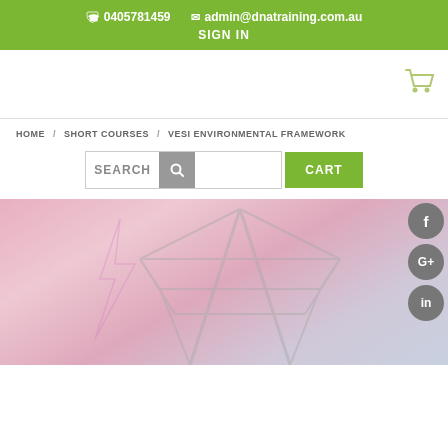0405781459   admin@dnatraining.com.au   SIGN IN
[Figure (screenshot): Shopping cart icon in light green color top right of header]
HOME / SHORT COURSES / VESI ENVIRONMENTAL FRAMEWORK
SEARCH   CART
[Figure (photo): Background image of electricity transmission tower/pylon with lightning, pink and grey tones, with Facebook, Google+ and LinkedIn social media icons on the right side]